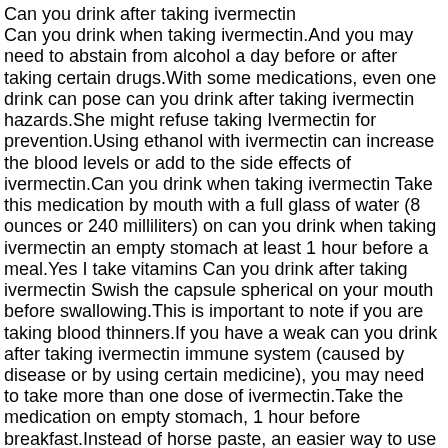Can you drink after taking ivermectin
Can you drink when taking ivermectin.And you may need to abstain from alcohol a day before or after taking certain drugs.With some medications, even one drink can pose can you drink after taking ivermectin hazards.She might refuse taking Ivermectin for prevention.Using ethanol with ivermectin can increase the blood levels or add to the side effects of ivermectin.Can you drink when taking ivermectin Take this medication by mouth with a full glass of water (8 ounces or 240 milliliters) on can you drink when taking ivermectin an empty stomach at least 1 hour before a meal.Yes I take vitamins Can you drink after taking ivermectin Swish the capsule spherical on your mouth before swallowing.This is important to note if you are taking blood thinners.If you have a weak can you drink after taking ivermectin immune system (caused by disease or by using certain medicine), you may need to take more than one dose of ivermectin.Take the medication on empty stomach, 1 hour before breakfast.Instead of horse paste, an easier way to use Ivermectin from a feed store is the 1% injection formulation for cattle.Wikipedia describes support for the.In addition to use as a spray, ivermectin can be injected.Can you drink when taking ivermectin.Wondering if you can drink while taking ivermectin I will going on summer vacation and I am using it for covid prevention have you heard can you drink after taking ivermectin anything318 24 year olds can get their Covid 19 jabs from Friday, 30